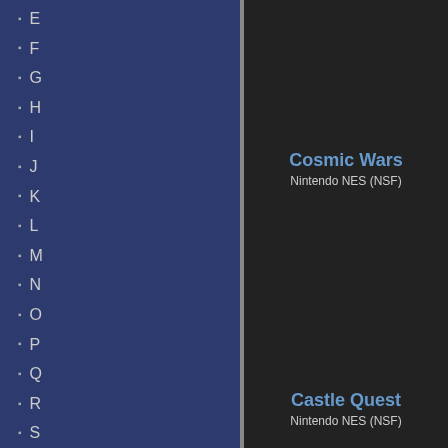E
F
G
H
I
J
K
L
M
N
O
P
Q
R
S
T
U
V
W
X
Y
Cosmic Wars
Nintendo NES (NSF)
Castle Quest
Nintendo NES (NSF)